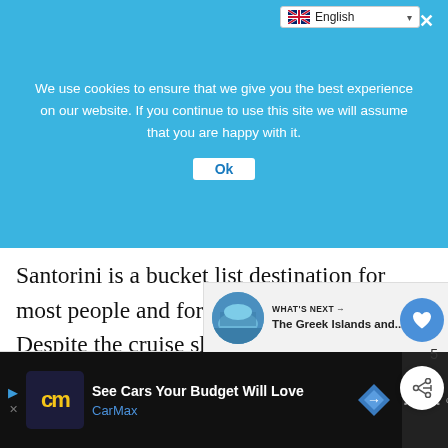We use cookies to ensure that we give you the best experience on our website. If you continue to use this site we will assume that you are happy with it.
Ok
Santorini is a bucket list destination for most people and for good reason. Despite the cruise ships and the crowds it remains one of those places that not only meets your expectations but probably exceeds it.
WHAT'S NEXT → The Greek Islands and...
See Cars Your Budget Will Love CarMax